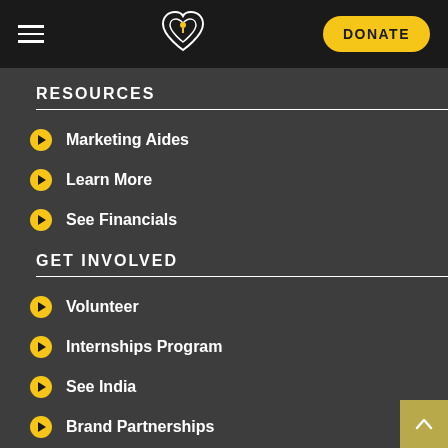DONATE
RESOURCES
Marketing Aides
Learn More
See Financials
GET INVOLVED
Volunteer
Internships Program
See India
Brand Partnerships